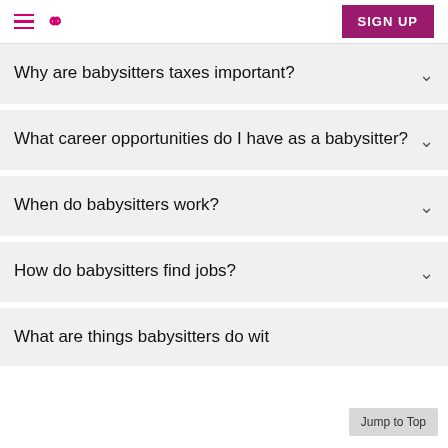SIGN UP
Why are babysitters taxes important?
What career opportunities do I have as a babysitter?
When do babysitters work?
How do babysitters find jobs?
What are things babysitters do with kids?
Jump to Top